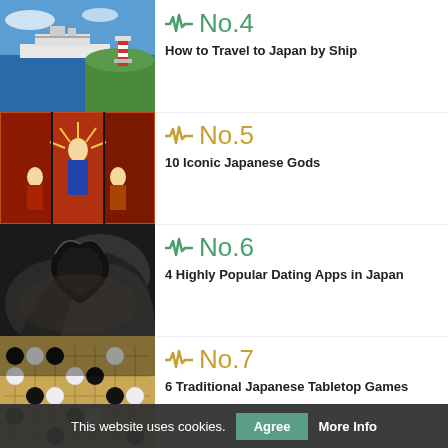[Figure (photo): Cruise ship on blue ocean water with a red lighthouse on a green cliff in the background]
No.4 How to Travel to Japan by Ship
[Figure (photo): Triptych Japanese ukiyo-e woodblock print depicting Japanese gods with dramatic orange and black imagery]
No.5 10 Iconic Japanese Gods
[Figure (photo): Close-up of dark folded fabric or leather material with soft artistic focus]
No.6 4 Highly Popular Dating Apps in Japan
[Figure (photo): Close-up of a Go board game with black and white stones arranged on a wooden grid]
No.7 6 Traditional Japanese Tabletop Games
This website uses cookies. Agree More Info